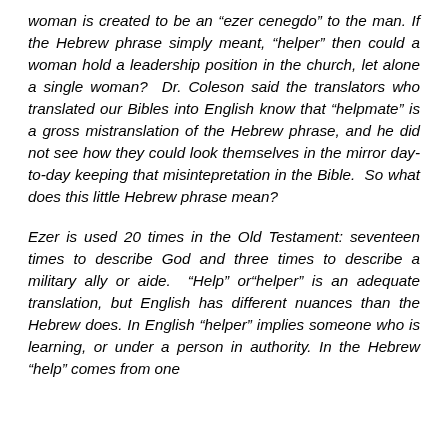woman is created to be an “ezer cenegdo” to the man. If the Hebrew phrase simply meant, “helper” then could a woman hold a leadership position in the church, let alone a single woman?  Dr. Coleson said the translators who translated our Bibles into English know that “helpmate” is a gross mistranslation of the Hebrew phrase, and he did not see how they could look themselves in the mirror day-to-day keeping that misintepretation in the Bible.  So what does this little Hebrew phrase mean?
Ezer is used 20 times in the Old Testament: seventeen times to describe God and three times to describe a military ally or aide.  “Help” or“helper” is an adequate translation, but English has different nuances than the Hebrew does. In English “helper” implies someone who is learning, or under a person in authority. In the Hebrew “help” comes from one